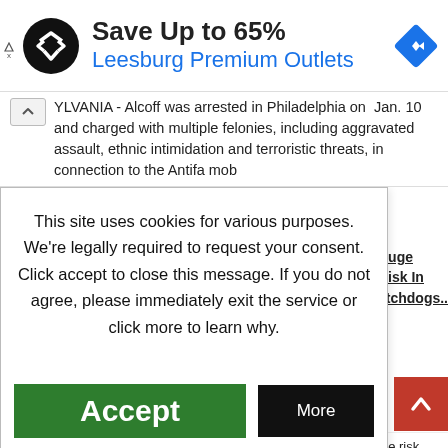[Figure (screenshot): Advertisement banner: black circular logo with double arrow symbol, text 'Save Up to 65%' in bold dark, 'Leesburg Premium Outlets' in blue, blue diamond navigation icon at right, small ad markers at left]
YLVANIA - Alcoff was arrested in Philadelphia on Jan. 10 and charged with multiple felonies, including aggravated assault, ethnic intimidation and terroristic threats, in connection to the Antifa mob
This site uses cookies for various purposes. We're legally required to request your consent. Click accept to close this message. If you do not agree, please immediately exit the service or click more to learn why.
Accept
More
Huge Risk In atchdogs...
NEW YORK, NY - Charity watchdogs say donors are taking a huge risk